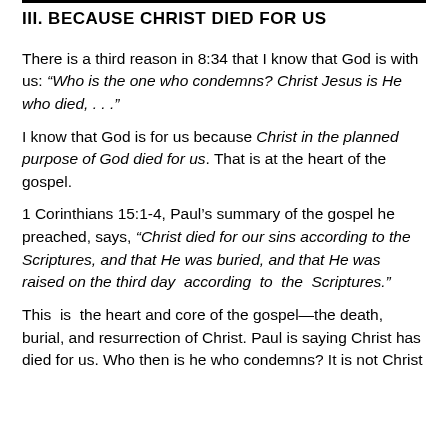III. BECAUSE CHRIST DIED FOR US
There is a third reason in 8:34 that I know that God is with us: “Who is the one who condemns? Christ Jesus is He who died, . . .”
I know that God is for us because Christ in the planned purpose of God died for us. That is at the heart of the gospel.
1 Corinthians 15:1-4, Paul’s summary of the gospel he preached, says, “Christ died for our sins according to the Scriptures, and that He was buried, and that He was raised on the third day  according  to  the  Scriptures.”
This  is  the heart and core of the gospel—the death, burial, and resurrection of Christ. Paul is saying Christ has died for us. Who then is he who condemns? It is not Christ because Christ died for us and so we are not condemned.